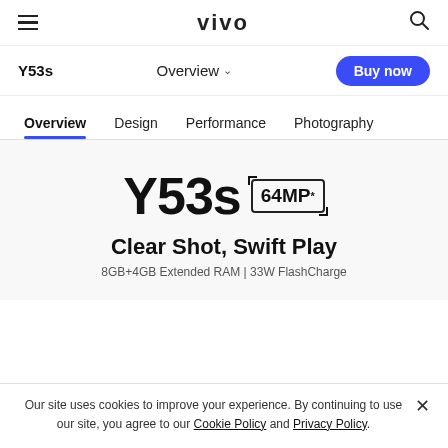vivo
Y53s   Overview ∨   Buy now
Overview   Design   Performance   Photography
Y53s 64MP* Clear Shot, Swift Play 8GB+4GB Extended RAM | 33W FlashCharge
Our site uses cookies to improve your experience. By continuing to use our site, you agree to our Cookie Policy and Privacy Policy.